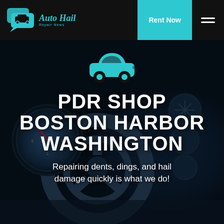[Figure (logo): Auto Hail Repair News logo with teal speech bubble car icon and italic teal text]
Rent Now
[Figure (photo): Dark car interior dashboard and steering wheel background photo]
[Figure (illustration): Teal car icon silhouette]
PDR SHOP BOSTON HARBOR WASHINGTON
Repairing dents, dings, and hail damage quickly is what we do!